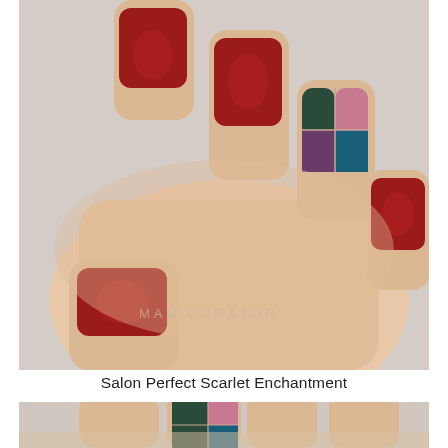[Figure (photo): Close-up photograph of a hand with manicured nails. Most nails are painted deep red/crimson (Salon Perfect Scarlet Enchantment). The ring finger nail features a geometric color-block design with sections of dark green, pink/mauve, teal/blue, and dark purple. A watermark reading 'MANICURATOR' appears near the bottom of the image. The background is light gray.]
Salon Perfect Scarlet Enchantment
[Figure (photo): Partial close-up photograph (cropped, showing only the top portion) of fingers with the same geometric color-block nail art design visible on the index finger — sections of dark green, pink/mauve, teal/blue. Background is light gray.]